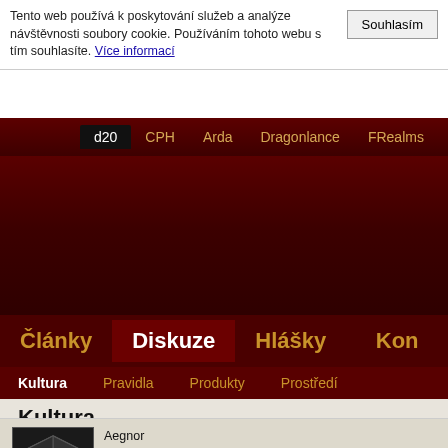Tento web používá k poskytování služeb a analýze návštěvnosti soubory cookie. Používáním tohoto webu s tím souhlasíte. Více informací
Souhlasim
d20  CPH  Arda  Dragonlance  FRealms  Ic
Články   Diskuze   Hlášky   Kon
Kultura   Pravidla   Produkty   Prostředí
Kultura
Aegnor
22.4.2009 12:58
Seriály fantastiky
pozn.: moje stránkování je vzestupné (nové posty - vyšší st napíšu "na třetí straně", myslim tim posty 41-60. Ano, strá nastavení.